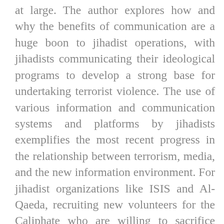at large. The author explores how and why the benefits of communication are a huge boon to jihadist operations, with jihadists communicating their ideological programs to develop a strong base for undertaking terrorist violence. The use of various information and communication systems and platforms by jihadists exemplifies the most recent progress in the relationship between terrorism, media, and the new information environment. For jihadist organizations like ISIS and Al-Qaeda, recruiting new volunteers for the Caliphate who are willing to sacrifice their lives for the cause is a top priority. Based on various conceptual analyses, case studies, and theoretical applications, this book explores the communicative tools, tactics, and approaches used for this recruitment, including narratives, propaganda, mainstream media, social media, new information and communication technologies, the jihadisphere, visual imagery, media framing, globalization, financing networks, crime–jihad nexuses, group communication, radicalization, social movements